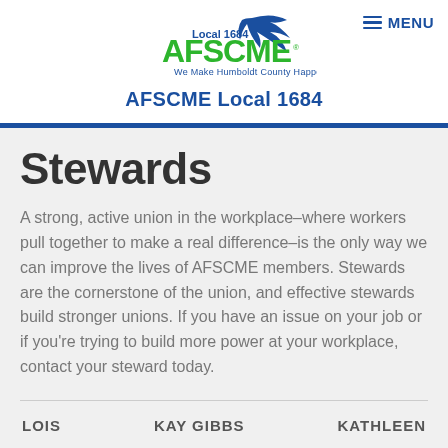[Figure (logo): AFSCME Local 1684 logo with blue swoosh bird and green text reading 'AFSCME' and tagline 'We Make Humboldt County Happen']
AFSCME Local 1684
Stewards
A strong, active union in the workplace–where workers pull together to make a real difference–is the only way we can improve the lives of AFSCME members. Stewards are the cornerstone of the union, and effective stewards build stronger unions. If you have an issue on your job or if you're trying to build more power at your workplace, contact your steward today.
LOIS   KAY GIBBS   KATHLEEN